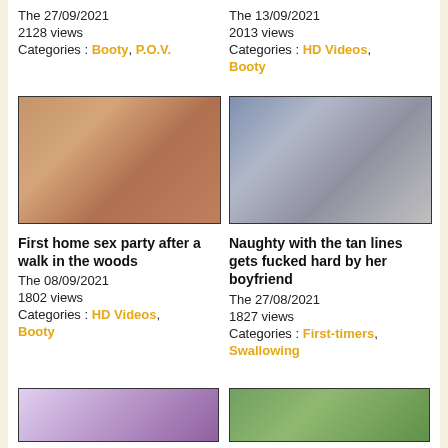The 27/09/2021
2128 views
Categories : Booty, P.O.V.
The 13/09/2021
2013 views
Categories : HD Videos, Booty
[Figure (photo): Thumbnail image for First home sex party after a walk in the woods]
[Figure (photo): Thumbnail image for Naughty with the tan lines gets fucked hard by her boyfriend]
First home sex party after a walk in the woods
The 08/09/2021
1802 views
Categories : HD Videos, Booty
Naughty with the tan lines gets fucked hard by her boyfriend
The 27/08/2021
1827 views
Categories : First-timers, Swallowing
[Figure (photo): Thumbnail image bottom left]
[Figure (photo): Thumbnail image bottom right]